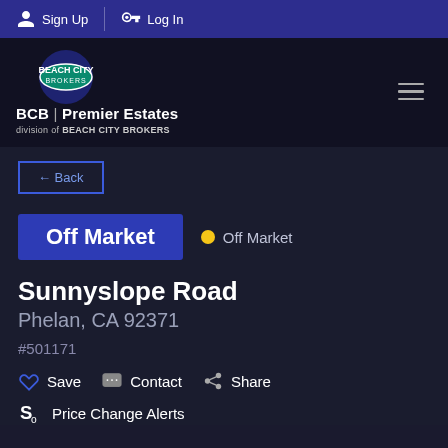Sign Up | Log In
[Figure (logo): Beach City Brokers logo with circular emblem and BCB Premier Estates text, division of Beach City Brokers]
Back
Off Market • Off Market
Sunnyslope Road
Phelan, CA 92371
#501171
Save  Contact  Share
Price Change Alerts